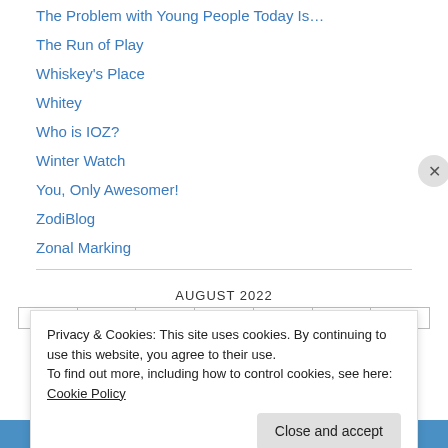The Problem with Young People Today Is…
The Run of Play
Whiskey's Place
Whitey
Who is IOZ?
Winter Watch
You, Only Awesomer!
ZodiBlog
Zonal Marking
AUGUST 2022
| M | T | W | T | F | S | S |
| --- | --- | --- | --- | --- | --- | --- |
Privacy & Cookies: This site uses cookies. By continuing to use this website, you agree to their use.
To find out more, including how to control cookies, see here: Cookie Policy
Close and accept